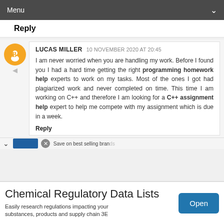Menu
Reply
LUCAS MILLER  10 NOVEMBER 2020 AT 20:45
I am never worried when you are handling my work. Before I found you I had a hard time getting the right programming homework help experts to work on my tasks. Most of the ones I got had plagiarized work and never completed on time. This time I am working on C++ and therefore I am looking for a C++ assignment help expert to help me compete with my assignment which is due in a week.
Reply
Chemical Regulatory Data Lists
Easily research regulations impacting your substances, products and supply chain 3E
Open